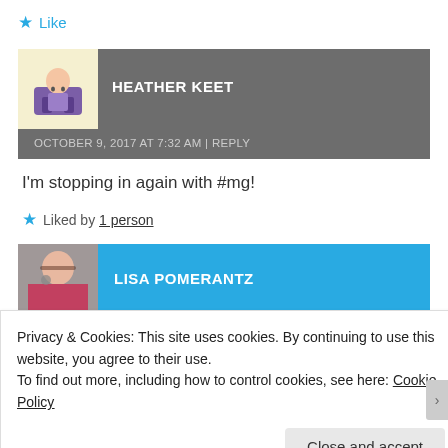★ Like
HEATHER KEET
OCTOBER 9, 2017 AT 7:32 AM | REPLY
I'm stopping in again with #mg!
★ Liked by 1 person
LISA POMERANTZ
Privacy & Cookies: This site uses cookies. By continuing to use this website, you agree to their use.
To find out more, including how to control cookies, see here: Cookie Policy
Close and accept